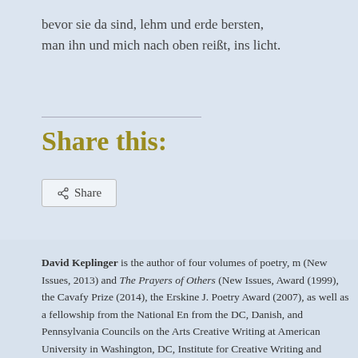bevor sie da sind, lehm und erde bersten,
man ihn und mich nach oben reißt, ins licht.
Share this:
Share
David Keplinger is the author of four volumes of poetry, m (New Issues, 2013) and The Prayers of Others (New Issues, Award (1999), the Cavafy Prize (2014), the Erskine J. Poetry Award (2007), as well as a fellowship from the National En from the DC, Danish, and Pennsylvania Councils on the Arts Creative Writing at American University in Washington, DC, Institute for Creative Writing and Literary Translation at Joh read more by this author: Mapping the City Issue, Fall 2010